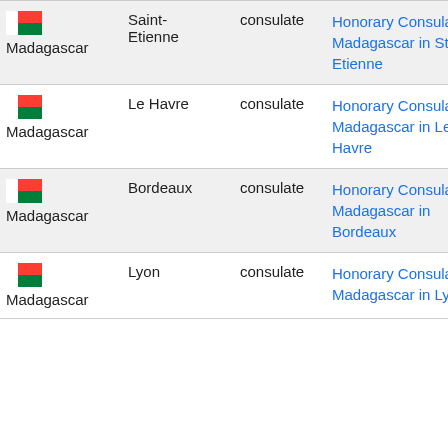| Country | City | Type | Name |
| --- | --- | --- | --- |
| Madagascar | Saint-Etienne | consulate | Honorary Consulate of Madagascar in St Etienne |
| Madagascar | Le Havre | consulate | Honorary Consulate of Madagascar in Le Havre |
| Madagascar | Bordeaux | consulate | Honorary Consulate of Madagascar in Bordeaux |
| Madagascar | Lyon | consulate | Honorary Consulate of Madagascar in Lyon |